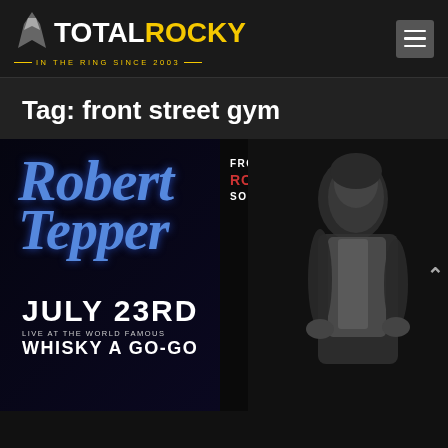TOTAL ROCKY — IN THE RING SINCE 2003
Tag: front street gym
[Figure (photo): Robert Tepper concert poster. Blue cursive text reads 'Robert Tepper'. Upper right text reads 'FROM THE ROCKY IV SOUNDTRACK'. Lower left reads 'JULY 23RD LIVE AT THE WORLD FAMOUS WHISKY A GO-GO'. Background shows a black and white photo of a performer.]